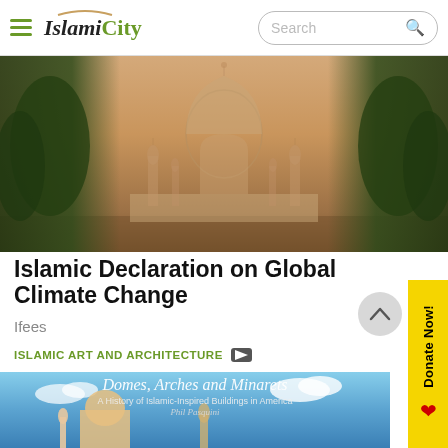IslamiCity
[Figure (photo): Hazy photo of the Taj Mahal in Agra, India, surrounded by trees on both sides, with a smoggy orange-brown sky]
Islamic Declaration on Global Climate Change
Ifees
ISLAMIC ART AND ARCHITECTURE
[Figure (photo): Book cover image with blue sky and mosque silhouettes, titled 'Domes, Arches and Minarets: A History of Islamic-Inspired Buildings in America' by Phil Pasquini]